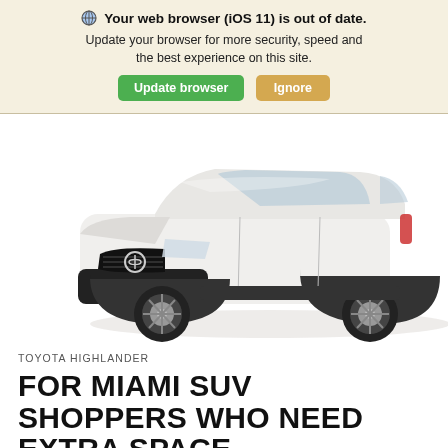🌐 Your web browser (iOS 11) is out of date. Update your browser for more security, speed and the best experience on this site. [Update browser] [Ignore]
[Figure (photo): White Toyota Highlander SUV photographed from a front-left angle on a white background]
TOYOTA HIGHLANDER
FOR MIAMI SUV SHOPPERS WHO NEED EXTRA SPACE